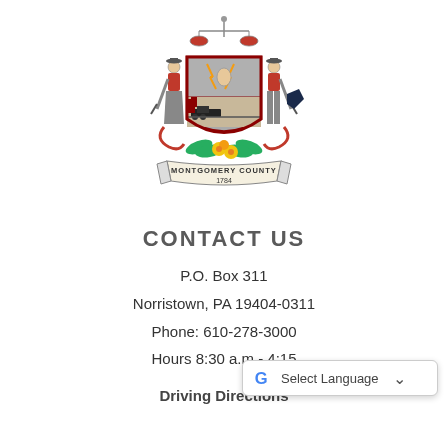[Figure (logo): Montgomery County seal/coat of arms with two figures flanking a shield, topped by a balance scale, with flowers at the bottom and a banner reading 'MONTGOMERY COUNTY 1784']
CONTACT US
P.O. Box 311
Norristown, PA 19404-0311
Phone: 610-278-3000
Hours 8:30 a.m.- 4:15
Driving Directions